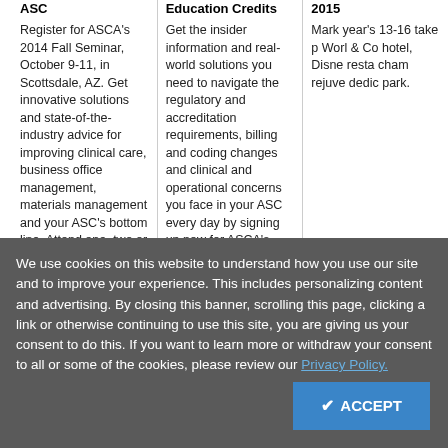ASC
Register for ASCA's 2014 Fall Seminar, October 9-11, in Scottsdale, AZ. Get innovative solutions and state-of-the-industry advice for improving clinical care, business office management, materials management and your ASC's bottom line. Attend one, two or all three days of the seminar. Early registration discounts end August 31.
Education Credits
Get the insider information and real-world solutions you need to navigate the regulatory and accreditation requirements, billing and coding changes and clinical and operational concerns you face in your ASC every day by signing up now for ASCA's 2014 Webinar Series. ASCA members save $50 on each webinar.
2015
Mark year's 13-16 take p Worl & Co hotel, Disne resta cham rejuve dedic park.
Industry News
CMS Announces Three Weeks of ICD-10 Acknowledgement Testing
Health Data Management (08/29/2014) Slabodkin, Greg
We use cookies on this website to understand how you use our site and to improve your experience. This includes personalizing content and advertising. By closing this banner, scrolling this page, clicking a link or otherwise continuing to use this site, you are giving us your consent to do this. If you want to learn more or withdraw your consent to all or some of the cookies, please review our Privacy Policy.